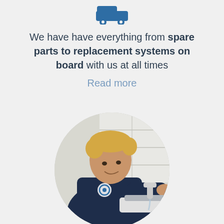[Figure (illustration): Blue car/van icon at the top center of the page]
We have have everything from spare parts to replacement systems on board with us at all times
Read more
[Figure (photo): Circular cropped photo of a young male plumber in dark navy uniform with a logo badge, working on a sink faucet against white tile background]